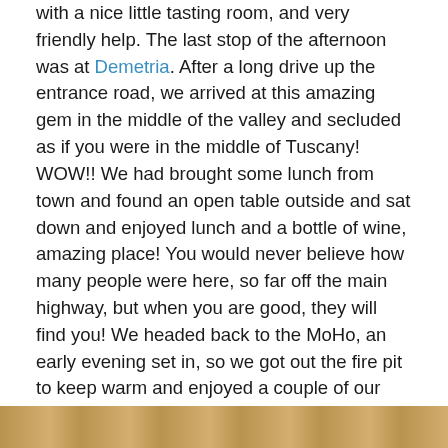with a nice little tasting room, and very friendly help. The last stop of the afternoon was at Demetria. After a long drive up the entrance road, we arrived at this amazing gem in the middle of the valley and secluded as if you were in the middle of Tuscany! WOW!! We had brought some lunch from town and found an open table outside and sat down and enjoyed lunch and a bottle of wine, amazing place! You would never believe how many people were here, so far off the main highway, but when you are good, they will find you! We headed back to the MoHo, an early evening set in, so we got out the fire pit to keep warm and enjoyed a couple of our wines we brought from home with our tour guides. A great day, a huge thanks to Dana and Sharon for taking care of us and showing us the valley!
[Figure (photo): Bottom strip showing part of a photo, warm brown/orange tones suggesting a winery or wooden interior scene]